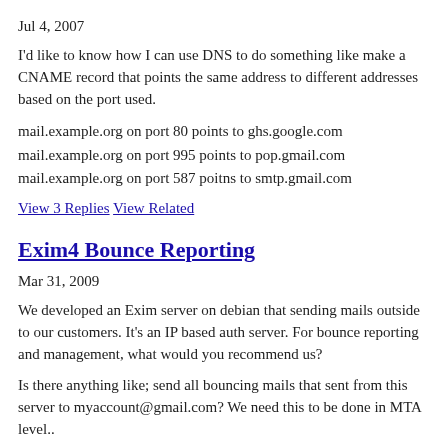Jul 4, 2007
I'd like to know how I can use DNS to do something like make a CNAME record that points the same address to different addresses based on the port used.
mail.example.org on port 80 points to ghs.google.com
mail.example.org on port 995 points to pop.gmail.com
mail.example.org on port 587 poitns to smtp.gmail.com
View 3 Replies  View Related
Exim4 Bounce Reporting
Mar 31, 2009
We developed an Exim server on debian that sending mails outside to our customers. It's an IP based auth server. For bounce reporting and management, what would you recommend us?
Is there anything like; send all bouncing mails that sent from this server to myaccount@gmail.com? We need this to be done in MTA level..